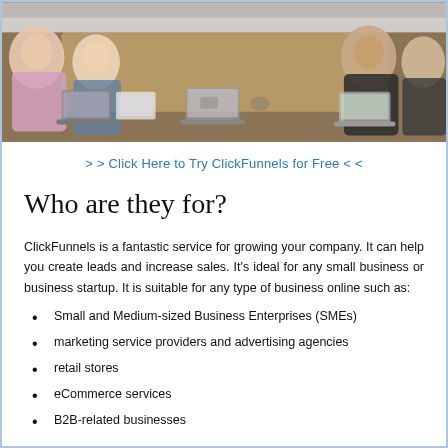[Figure (photo): People sitting around a long conference table with laptops and documents, viewed from above at an angle.]
> > Click Here to Try ClickFunnels for Free < <
Who are they for?
ClickFunnels is a fantastic service for growing your company. It can help you create leads and increase sales. It's ideal for any small business or business startup. It is suitable for any type of business online such as:
Small and Medium-sized Business Enterprises (SMEs)
marketing service providers and advertising agencies
retail stores
eCommerce services
B2B-related businesses